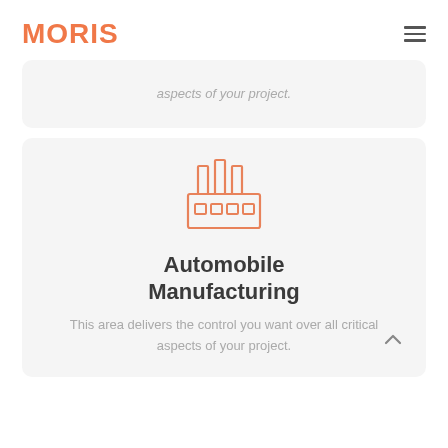MORIS
aspects of your project.
[Figure (illustration): Factory/manufacturing building icon in orange outline style, showing two tall chimneys and a building with rectangular windows]
Automobile Manufacturing
This area delivers the control you want over all critical aspects of your project.